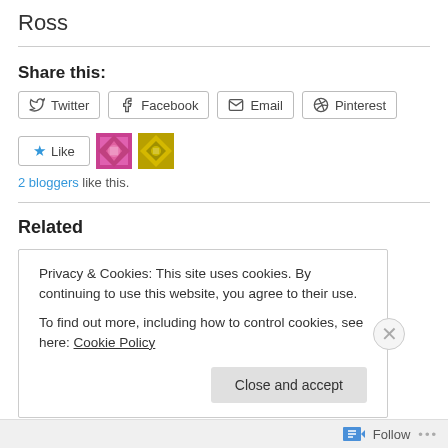Ross
Share this:
Twitter  Facebook  Email  Pinterest
[Figure (other): Like button with star icon, and two blogger avatar thumbnails (pink geometric pattern, gold geometric pattern)]
2 bloggers like this.
Related
They're here.
Privacy & Cookies: This site uses cookies. By continuing to use this website, you agree to their use.
To find out more, including how to control cookies, see here: Cookie Policy
Close and accept